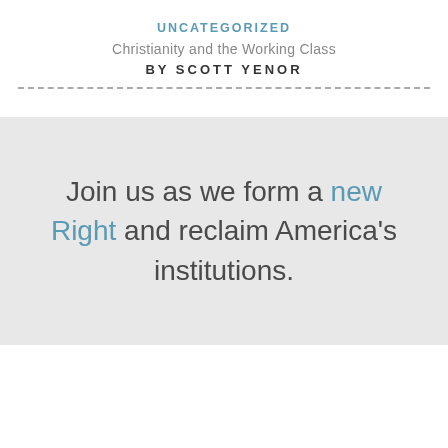UNCATEGORIZED
Christianity and the Working Class
BY SCOTT YENOR
Join us as we form a new Right and reclaim America's institutions.